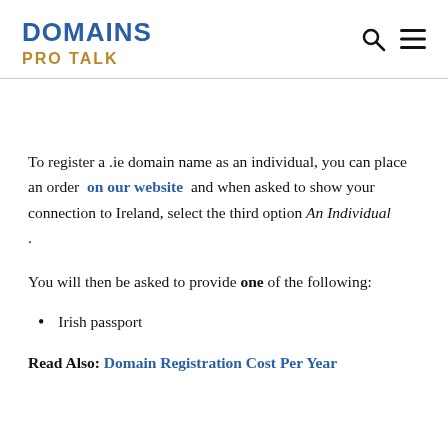DOMAINS PRO TALK
To register a .ie domain name as an individual, you can place an order on our website and when asked to show your connection to Ireland, select the third option An Individual .
You will then be asked to provide one of the following:
Irish passport
Read Also: Domain Registration Cost Per Year